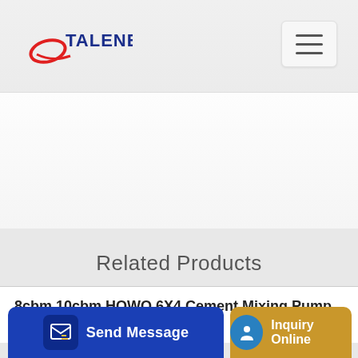TALENET
[Figure (screenshot): White background image area below the header navigation bar]
Related Products
10 7 concrete mixer machine
8cbm 10cbm HOWO 6X4 Cement Mixing Pump Concrete Mixer Truck
Send Message
Inquiry Online